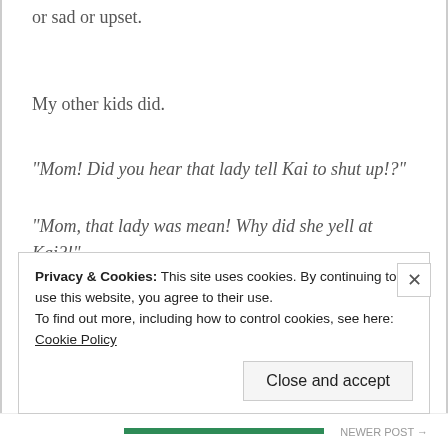or sad or upset.
My other kids did.
“Mom! Did you hear that lady tell Kai to shut up!?”
“Mom, that lady was mean! Why did she yell at Kai?!”
Privacy & Cookies: This site uses cookies. By continuing to use this website, you agree to their use. To find out more, including how to control cookies, see here: Cookie Policy
Close and accept